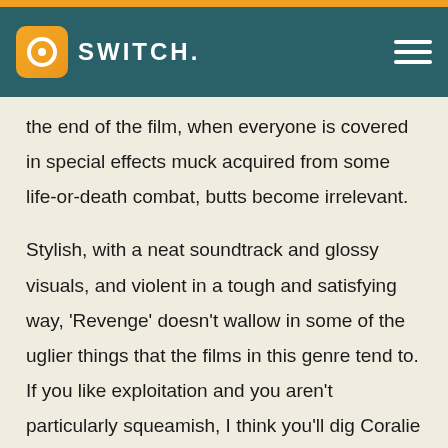SWITCH.
the end of the film, when everyone is covered in special effects muck acquired from some life-or-death combat, butts become irrelevant.
Stylish, with a neat soundtrack and glossy visuals, and violent in a tough and satisfying way, ‘Revenge’ doesn't wallow in some of the uglier things that the films in this genre tend to. If you like exploitation and you aren’t particularly squeamish, I think you'll dig Coralie Fargeat's film quite a bit.